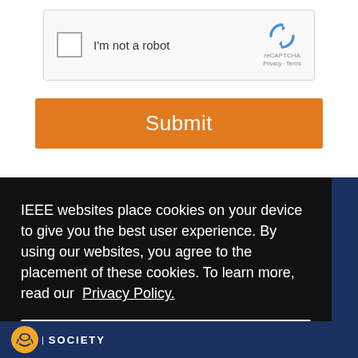[Figure (screenshot): reCAPTCHA widget with checkbox labeled 'I'm not a robot' and reCAPTCHA logo on the right showing 'reCAPTCHA Privacy · Terms']
Submit
IEEE websites place cookies on your device to give you the best user experience. By using our websites, you agree to the placement of these cookies. To learn more, read our Privacy Policy.
Accept & Close
SOCIETY